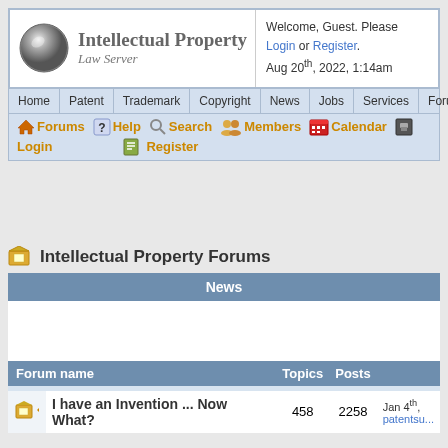Intellectual Property Law Server — Welcome, Guest. Please Login or Register. Aug 20th, 2022, 1:14am
Intellectual Property Forums
|  | Forum name | Topics | Posts | Last post |
| --- | --- | --- | --- | --- |
| News |  |  |  |  |
| Forum name | Topics | Posts |  |
|  | I have an Invention ... Now What? | 458 | 2258 | Jan 4th, patentsu... |